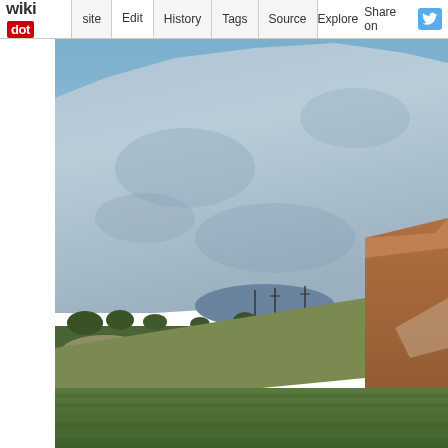wikidot | Edit | History | Tags | Source | Explore | Share on Twitter
[Figure (photo): Landscape photograph showing a large barren mountain or hillside with grey-blue hues in the background, green agricultural fields and low shrubs in the foreground, and a reddish-brown hill to the right. The scene appears to be a Middle Eastern or Mediterranean agricultural valley.]